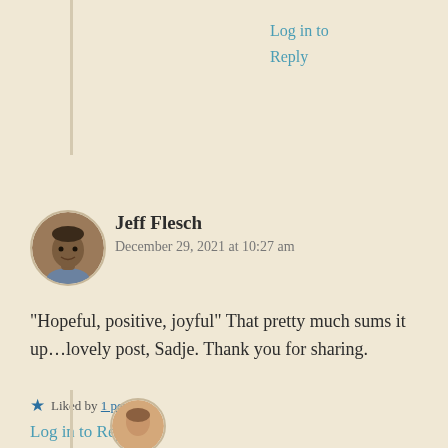Log in to Reply
[Figure (photo): Profile photo of Jeff Flesch, a man with dark skin]
Jeff Flesch
December 29, 2021 at 10:27 am
“Hopeful, positive, joyful” That pretty much sums it up…lovely post, Sadje. Thank you for sharing.
Liked by 1 person
Log in to Reply
[Figure (photo): Partial profile photo of another commenter at bottom of page]